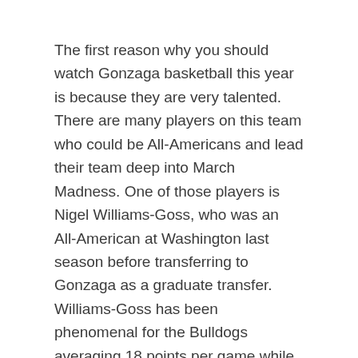The first reason why you should watch Gonzaga basketball this year is because they are very talented. There are many players on this team who could be All-Americans and lead their team deep into March Madness. One of those players is Nigel Williams-Goss, who was an All-American at Washington last season before transferring to Gonzaga as a graduate transfer. Williams-Goss has been phenomenal for the Bulldogs averaging 18 points per game while shooting 49 percent from the field and 38 percent from three point range. He also leads his team in assists with 4 per game and rebounds with 6 per game.
Another player who has had a great season so far